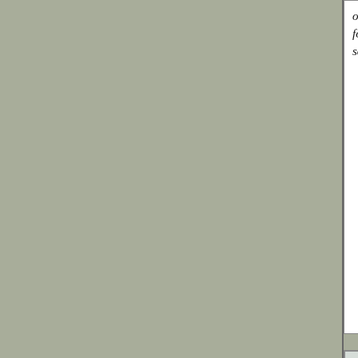obra, simplesmente lindo.Rogo a Deus q... fortalecendo este dom tão maravilhoso q... sempre."
André Gall- Diret...
ACSC- Casa de Sa...
[Figure (illustration): Watercolor or oil painting of a white house with an orange/terracotta roof, surrounded by tall trees, with shadows on a street or path in the foreground.]